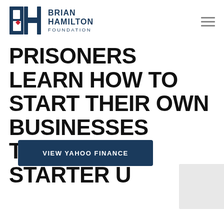[Figure (logo): Brian Hamilton Foundation logo with BH letters in blue and red, with 'BRIAN HAMILTON FOUNDATION' text beside it]
PRISONERS LEARN HOW TO START THEIR OWN BUSINESSES THROUGH STARTER U
VIEW YAHOO FINANCE